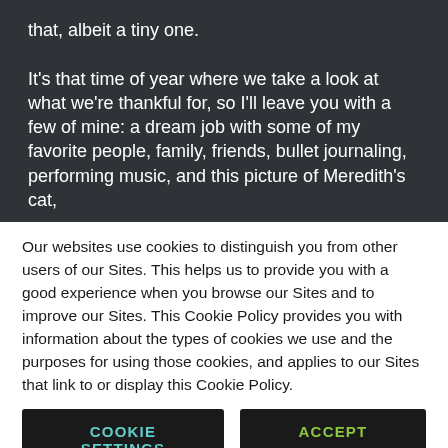that, albeit a tiny one.

It's that time of year where we take a look at what we're thankful for, so I'll leave you with a few of mine: a dream job with some of my favorite people, family, friends, bullet journaling, performing music, and this picture of Meredith's cat,
Our websites use cookies to distinguish you from other users of our Sites. This helps us to provide you with a good experience when you browse our Sites and to improve our Sites. This Cookie Policy provides you with information about the types of cookies we use and the purposes for using those cookies, and applies to our Sites that link to or display this Cookie Policy.
COOKIE SETTINGS
ACCEPT